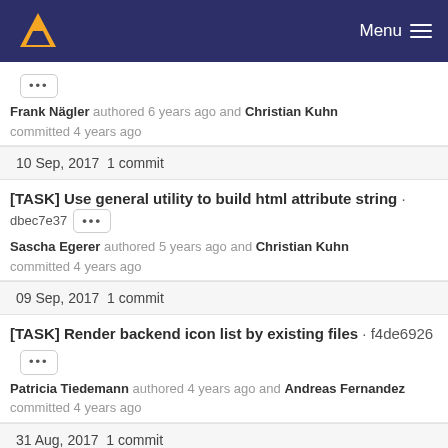Menu
... Frank Nägler authored 6 years ago and Christian Kuhn committed 4 years ago
10 Sep, 2017 1 commit
[TASK] Use general utility to build html attribute string · dbec7e37 ... Sascha Egerer authored 5 years ago and Christian Kuhn committed 4 years ago
09 Sep, 2017 1 commit
[TASK] Render backend icon list by existing files · f4de6926 ... Patricia Tiedemann authored 4 years ago and Andreas Fernandez committed 4 years ago
31 Aug, 2017 1 commit
[TASK] Improve exception for invalid transOrigPointerField ·